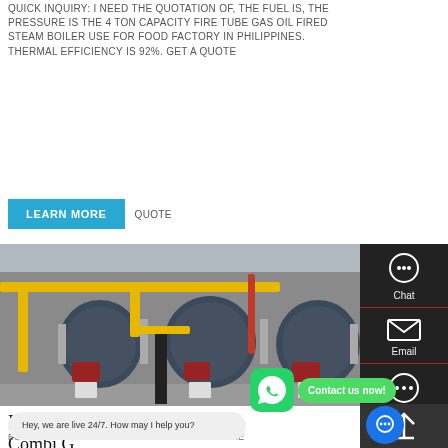QUICK INQUIRY: I NEED THE QUOTATION OF, THE FUEL IS, THE PRESSURE IS THE 4 TON CAPACITY FIRE TUBE GAS OIL FIRED STEAM BOILER USE FOR FOOD FACTORY IN PHILIPPINES. THERMAL EFFICIENCY IS 92%. GET A QUOTE
LEARN MORE
QUOTE
[Figure (photo): Industrial boiler room with multiple large cylindrical gas/oil fired steam boilers in a row, connected by yellow and silver pipes, inside a factory building.]
Chat
Email
Contact us now!
Buy Ideal Logic Max 30kW Combi G
Hey, we are live 24/7. How may I help you?
BUY IDEAL LOGIC MAX 30KW COMBI GAS BOILER: THE